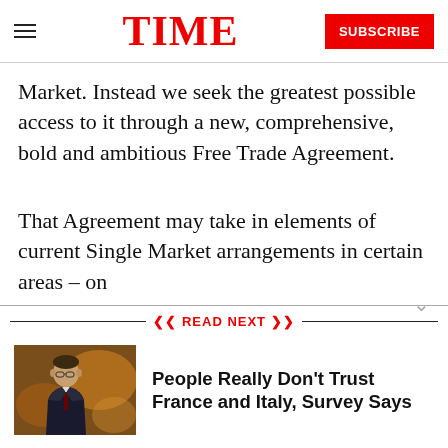TIME
Market. Instead we seek the greatest possible access to it through a new, comprehensive, bold and ambitious Free Trade Agreement.
That Agreement may take in elements of current Single Market arrangements in certain areas – on
READ NEXT
[Figure (photo): Thumbnail photo of a man in a suit, warm orange/brown background, appearing to be a news article thumbnail]
People Really Don't Trust France and Italy, Survey Says